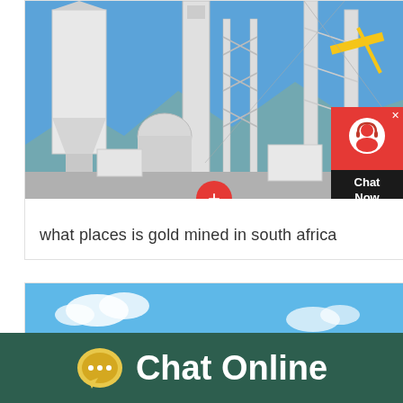[Figure (photo): Industrial mining/processing facility with white silos, conveyor structures, scaffolding, and a yellow crane arm against a blue sky]
what places is gold mined in south africa
[Figure (photo): Outdoor landscape with blue sky and clouds, partially visible at bottom of page]
Chat Online